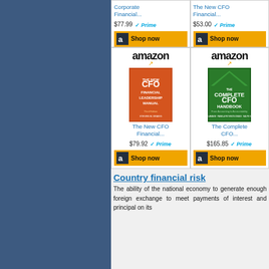[Figure (screenshot): Amazon product listing for 'Corporate Financial...' priced at $77.99 with Prime badge and Shop now button]
[Figure (screenshot): Amazon product listing for 'The New CFO Financial...' priced at $53.00 with Prime badge and Shop now button]
[Figure (screenshot): Amazon ad card showing The New CFO Financial Leadership Manual book cover, priced at $79.92 with Prime and Shop now]
[Figure (screenshot): Amazon ad card showing The Complete CFO Handbook book cover, priced at $165.85 with Prime and Shop now]
Country financial risk
The ability of the national economy to generate enough foreign exchange to meet payments of interest and principal on its